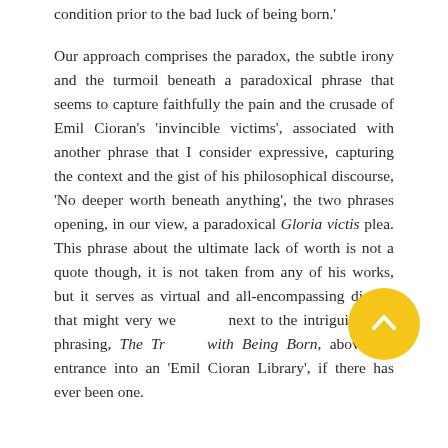condition prior to the bad luck of being born.'
Our approach comprises the paradox, the subtle irony and the turmoil beneath a paradoxical phrase that seems to capture faithfully the pain and the crusade of Emil Cioran's 'invincible victims', associated with another phrase that I consider expressive, capturing the context and the gist of his philosophical discourse, 'No deeper worth beneath anything', the two phrases opening, in our view, a paradoxical Gloria victis plea. This phrase about the ultimate lack of worth is not a quote though, it is not taken from any of his works, but it serves as virtual and all-encompassing dictum that might very well stand next to the intriguing title phrasing, The Trouble with Being Born, above the entrance into an 'Emil Cioran Library', if there has ever been one.
[Figure (other): Yellow circular navigation button with upward chevron arrow icon, overlaid on the text.]